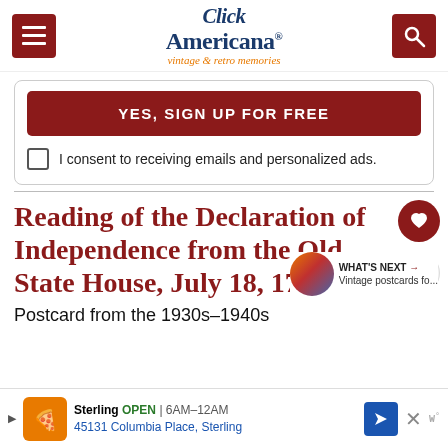Click Americana – vintage & retro memories
YES, SIGN UP FOR FREE
I consent to receiving emails and personalized ads.
Reading of the Declaration of Independence from the Old State House, July 18, 1776
WHAT'S NEXT → Vintage postcards fo...
Postcard from the 1930s–1940s
Sterling  OPEN | 6AM–12AM  45131 Columbia Place, Sterling